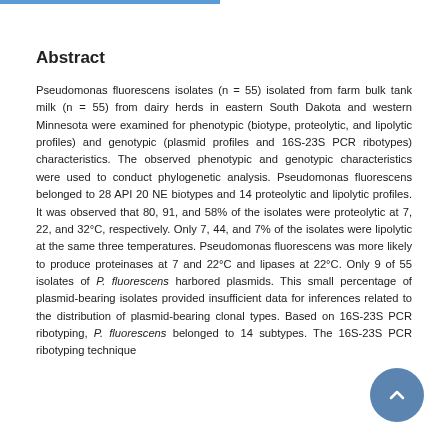Abstract
Pseudomonas fluorescens isolates (n = 55) isolated from farm bulk tank milk (n = 55) from dairy herds in eastern South Dakota and western Minnesota were examined for phenotypic (biotype, proteolytic, and lipolytic profiles) and genotypic (plasmid profiles and 16S-23S PCR ribotypes) characteristics. The observed phenotypic and genotypic characteristics were used to conduct phylogenetic analysis. Pseudomonas fluorescens belonged to 28 API 20 NE biotypes and 14 proteolytic and lipolytic profiles. It was observed that 80, 91, and 58% of the isolates were proteolytic at 7, 22, and 32°C, respectively. Only 7, 44, and 7% of the isolates were lipolytic at the same three temperatures. Pseudomonas fluorescens was more likely to produce proteinases at 7 and 22°C and lipases at 22°C. Only 9 of 55 isolates of P. fluorescens harbored plasmids. This small percentage of plasmid-bearing isolates provided insufficient data for inferences related to the distribution of plasmid-bearing clonal types. Based on 16S-23S PCR ribotyping, P. fluorescens belonged to 14 subtypes. The 16S-23S PCR ribotyping technique